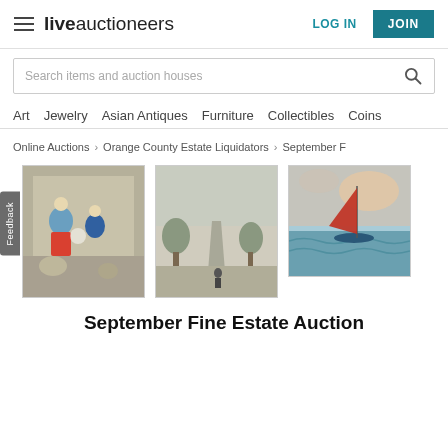liveauctioneers — LOG IN | JOIN
Search items and auction houses
Art   Jewelry   Asian Antiques   Furniture   Collectibles   Coins
Online Auctions > Orange County Estate Liquidators > September F
[Figure (photo): Three thumbnail images of auction items: (1) a painting of figures in traditional Asian attire, (2) a landscape sketch with a road and trees, (3) a seascape painting of a sailboat with red sail on choppy water.]
September Fine Estate Auction